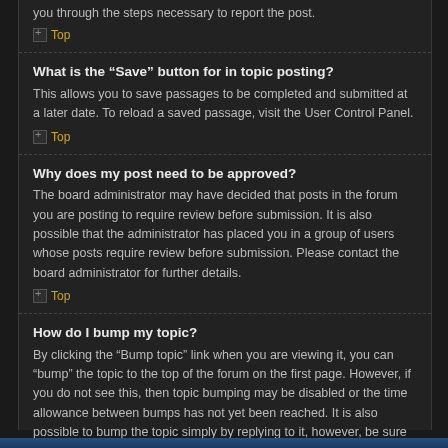you through the steps necessary to report the post.
Top
What is the “Save” button for in topic posting?
This allows you to save passages to be completed and submitted at a later date. To reload a saved passage, visit the User Control Panel.
Top
Why does my post need to be approved?
The board administrator may have decided that posts in the forum you are posting to require review before submission. It is also possible that the administrator has placed you in a group of users whose posts require review before submission. Please contact the board administrator for further details.
Top
How do I bump my topic?
By clicking the “Bump topic” link when you are viewing it, you can “bump” the topic to the top of the forum on the first page. However, if you do not see this, then topic bumping may be disabled or the time allowance between bumps has not yet been reached. It is also possible to bump the topic simply by replying to it, however, be sure to follow the board rules when doing so.
Top